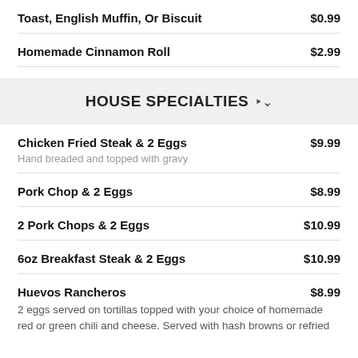Toast, English Muffin, Or Biscuit  $0.99
Homemade Cinnamon Roll  $2.99
HOUSE SPECIALTIES
Chicken Fried Steak & 2 Eggs  $9.99
Hand breaded and topped with gravy
Pork Chop & 2 Eggs  $8.99
2 Pork Chops & 2 Eggs  $10.99
6oz Breakfast Steak & 2 Eggs  $10.99
Huevos Rancheros  $8.99
2 eggs served on tortillas topped with your choice of homemade red or green chili and cheese. Served with hash browns or refried